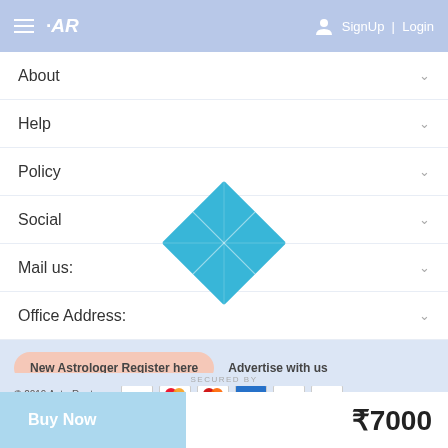AR | SignUp | Login
About
Help
Policy
Social
Mail us:
Office Address:
[Figure (logo): AstroRoot diamond/rhombus logo in blue with grid lines]
New Astrologer Register here
Advertise with us
© 2019 AstroRoot.com | VISA | Mastercard | payment icons | SECURED by
Buy Now
₹7000